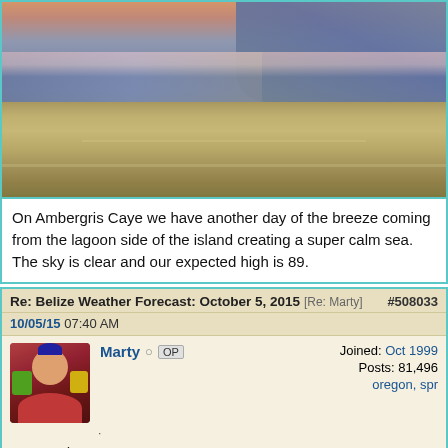[Figure (photo): Sunset over calm sea at Ambergris Caye, Belize. Sky shows orange and pink hues at the horizon with grey-blue cloud cover. Calm reflective water fills the lower half.]
On Ambergris Caye we have another day of the breeze coming from the lagoon side of the island creating a super calm sea. The sky is clear and our expected high is 89.
Re: Belize Weather Forecast: October 5, 2015 [Re: Marty]   #508033
10/05/15  07:40 AM
Marty  OP   Joined: Oct 1999   Posts: 81,496   oregon, spr
.
From Belmopan...
I am going blind, that is loosing good weather information sources. . . .